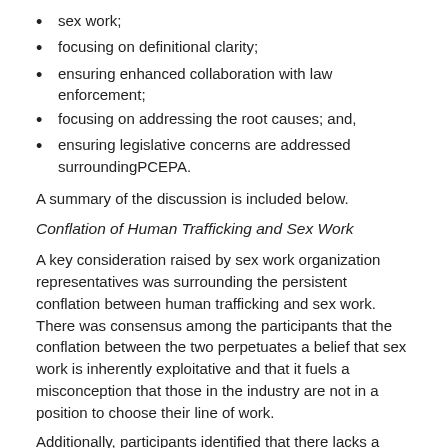sex work;
focusing on definitional clarity;
ensuring enhanced collaboration with law enforcement;
focusing on addressing the root causes; and,
ensuring legislative concerns are addressed surroundingPCEPA.
A summary of the discussion is included below.
Conflation of Human Trafficking and Sex Work
A key consideration raised by sex work organization representatives was surrounding the persistent conflation between human trafficking and sex work. There was consensus among the participants that the conflation between the two perpetuates a belief that sex work is inherently exploitative and that it fuels a misconception that those in the industry are not in a position to choose their line of work.
Additionally, participants identified that there lacks a